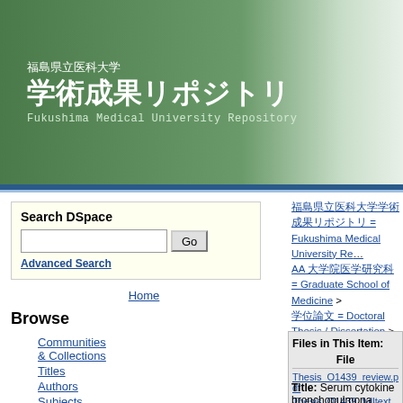福島県立医科大学 学術成果リポジトリ Fukushima Medical University Repository
Search DSpace
Advanced Search
Home
Browse
Communities & Collections
Titles
Authors
Subjects
By Date
Usage Statistics
Help
福島県立医科大学学術成果リポジトリ = Fukushima Medical University Repository > AA 大学院医学研究科 = Graduate School of Medicine > 学位論文 = Doctoral Thesis / Dissertation > 平成29年度 (Academic Year 2017) >
Please use this http://ir.fmu.ac
Files in This Item: File Thesis_O1439_review.pdf Thesis_O1439_fulltext.pdf
Title: Serum cytokine bronchopulmona